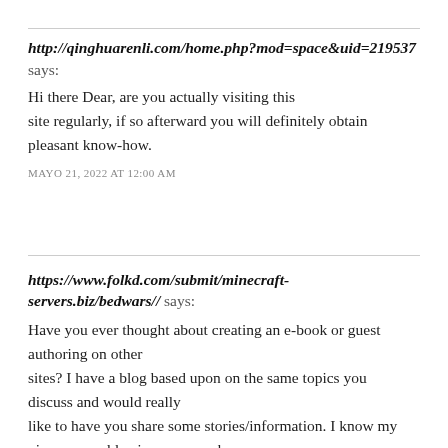http://qinghuarenli.com/home.php?mod=space&uid=219537 says:
Hi there Dear, are you actually visiting this site regularly, if so afterward you will definitely obtain pleasant know-how.
MAYO 21, 2022 AT 12:00 AM
https://www.folkd.com/submit/minecraft-servers.biz/bedwars// says:
Have you ever thought about creating an e-book or guest authoring on other sites? I have a blog based upon on the same topics you discuss and would really like to have you share some stories/information. I know my viewers would enjoy your work.